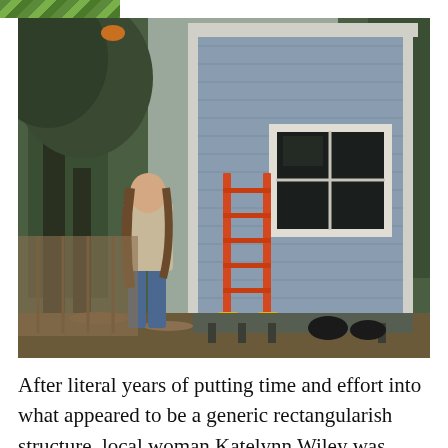[Figure (photo): A woman with long hair stands looking up at a small blue/gray rectangular tiny house structure elevated slightly off the ground, with an orange ladder leaning against it. Trees and a wooden fence are visible in the background on a cloudy day.]
After literal years of putting time and effort into what appeared to be a generic rectangularish structure, local woman Katelynn Wiley was surprised to discover she'd